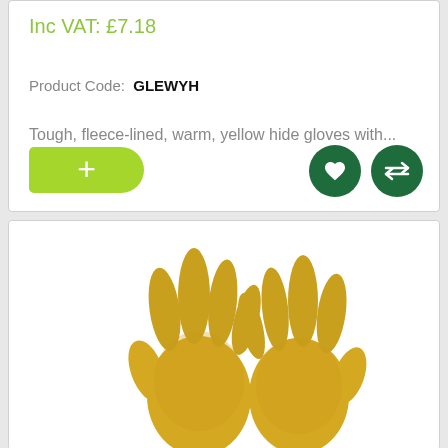Inc VAT: £7.18
Product Code: GLEWYH
Tough, fleece-lined, warm, yellow hide gloves with...
[Figure (photo): Yellow hide gloves photographed from above showing fingers spread out on white background]